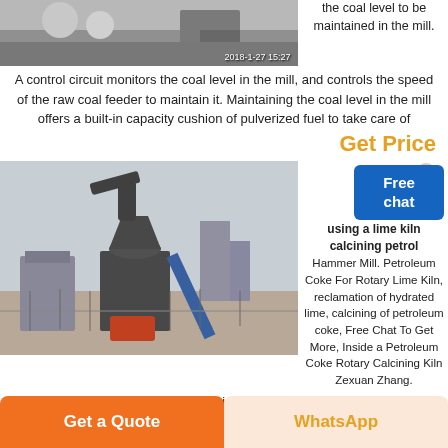[Figure (photo): Industrial facility photo with timestamp 2018-1-27 15:2x, showing ground-level view]
the coal level to be maintained in the mill.
A control circuit monitors the coal level in the mill, and controls the speed of the raw coal feeder to maintain it. Maintaining the coal level in the mill offers a built-in capacity cushion of pulverized fuel to take care of
Get Price
[Figure (photo): Industrial grinding mill / pulverizer machine outdoors at a construction/industrial site]
using a lime kiln calcining petroleum Hammer Mill. Petroleum Coke For Rotary Lime Kiln, reclamation of hydrated lime, calcining of petroleum coke, Free Chat To Get More, Inside a Petroleum Coke Rotary Calcining Kiln Zexuan Zhang. Live Chat Using A Lime Kiln For Calcining Petroleum Coke. High efficiency petroleum coke rotary
Get a Quote
WhatsApp